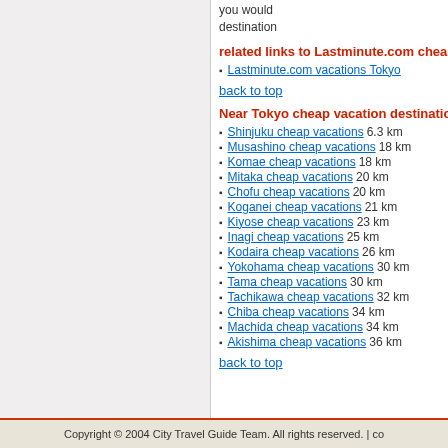you would destination
related links to Lastminute.com chea
Lastminute.com vacations Tokyo
back to top
Near Tokyo cheap vacation destinatio
Shinjuku cheap vacations 6.3 km
Musashino cheap vacations 18 km
Komae cheap vacations 18 km
Mitaka cheap vacations 20 km
Chofu cheap vacations 20 km
Koganei cheap vacations 21 km
Kiyose cheap vacations 23 km
Inagi cheap vacations 25 km
Kodaira cheap vacations 26 km
Yokohama cheap vacations 30 km
Tama cheap vacations 30 km
Tachikawa cheap vacations 32 km
Chiba cheap vacations 34 km
Machida cheap vacations 34 km
Akishima cheap vacations 36 km
back to top
Copyright © 2004 City Travel Guide Team. All rights reserved. | co